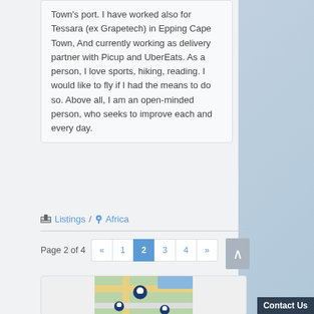Town's port. I have worked also for Tessara (ex Grapetech) in Epping Cape Town, And currently working as delivery partner with Picup and UberEats. As a person, I love sports, hiking, reading. I would like to fly if I had the means to do so. Above all, I am an open-minded person, who seeks to improve each and every day.
Listings / Africa
Page 2 of 4
[Figure (map): Map illustration with location pins, showing a stylized map with roads and markers]